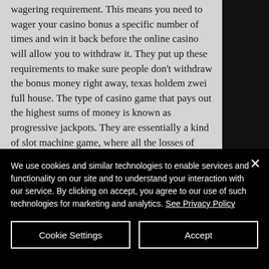wagering requirement. This means you need to wager your casino bonus a specific number of times and win it back before the online casino will allow you to withdraw it. They put up these requirements to make sure people don't withdraw the bonus money right away, texas holdem zwei full house. The type of casino game that pays out the highest sums of money is known as progressive jackpots. They are essentially a kind of slot machine game, where all the losses of other players are pooled together
We use cookies and similar technologies to enable services and functionality on our site and to understand your interaction with our service. By clicking on accept, you agree to our use of such technologies for marketing and analytics. See Privacy Policy
Cookie Settings
Accept